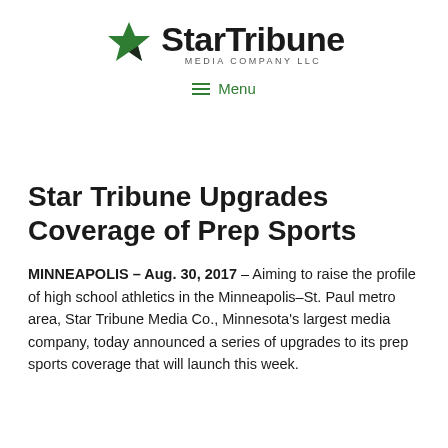[Figure (logo): Star Tribune Media Company LLC logo with green star icon and bold black wordmark]
≡ Menu
Star Tribune Upgrades Coverage of Prep Sports
MINNEAPOLIS – Aug. 30, 2017 – Aiming to raise the profile of high school athletics in the Minneapolis–St. Paul metro area, Star Tribune Media Co., Minnesota's largest media company, today announced a series of upgrades to its prep sports coverage that will launch this week.